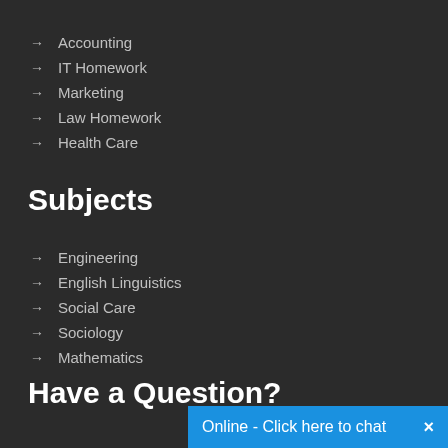→ Accounting
→ IT Homework
→ Marketing
→ Law Homework
→ Health Care
Subjects
→ Engineering
→ English Linguistics
→ Social Care
→ Sociology
→ Mathematics
Have a Question?
Online - Click here to chat